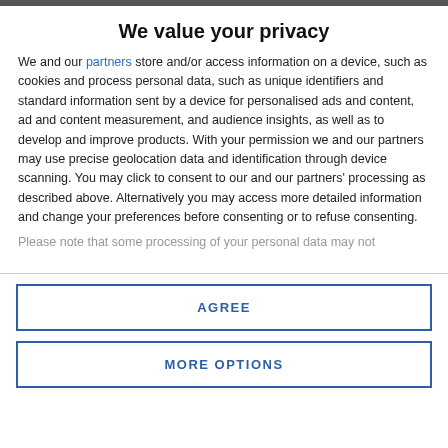We value your privacy
We and our partners store and/or access information on a device, such as cookies and process personal data, such as unique identifiers and standard information sent by a device for personalised ads and content, ad and content measurement, and audience insights, as well as to develop and improve products. With your permission we and our partners may use precise geolocation data and identification through device scanning. You may click to consent to our and our partners' processing as described above. Alternatively you may access more detailed information and change your preferences before consenting or to refuse consenting.
Please note that some processing of your personal data may not
AGREE
MORE OPTIONS
Comrades announces people